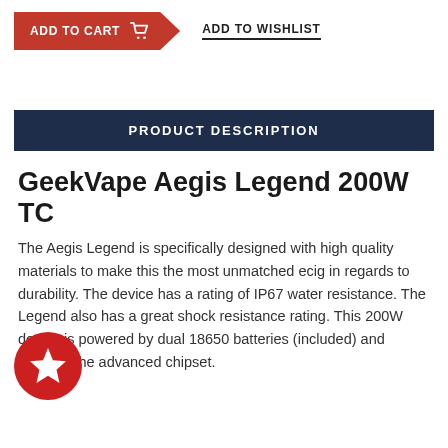[Figure (infographic): Red 'Add to Cart' button with shopping cart icon (chevron shape), and 'Add to Wishlist' text with underline]
PRODUCT DESCRIPTION
GeekVape Aegis Legend 200W TC
The Aegis Legend is specifically designed with high quality materials to make this the most unmatched ecig in regards to durability. The device has a rating of IP67 water resistance. The Legend also has a great shock resistance rating. This 200W device is powered by dual 18650 batteries (included) and features the advanced chipset.
[Figure (illustration): Red circular badge with white star icon in the bottom-left corner of the page]